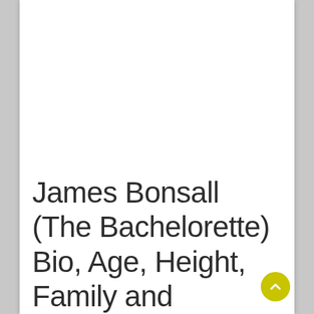James Bonsall (The Bachelorette) Bio, Age, Height, Family and